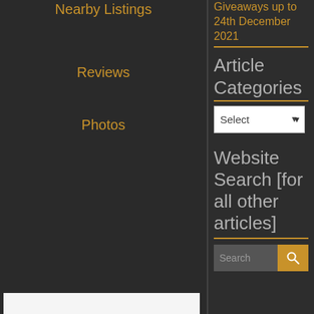Nearby Listings
Reviews
Photos
Giveaways up to 24th December 2021
Article Categories
Select (dropdown)
Website Search [for all other articles]
Search